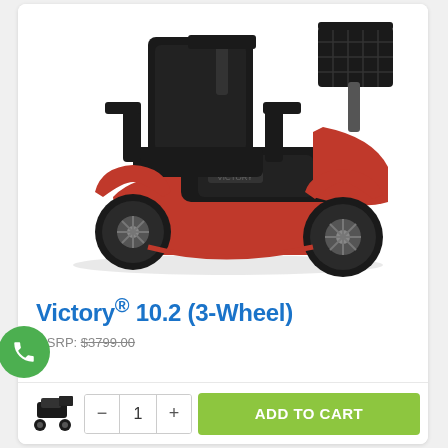[Figure (photo): Red and black 3-wheel mobility scooter (Victory 10.2) with high-back seat, armrests, front basket, and large tires on white background]
Victory® 10.2 (3-Wheel)
MSRP: $3799.00
[Figure (photo): Small thumbnail image of a compact 4-wheel mobility scooter]
- 1 + ADD TO CART